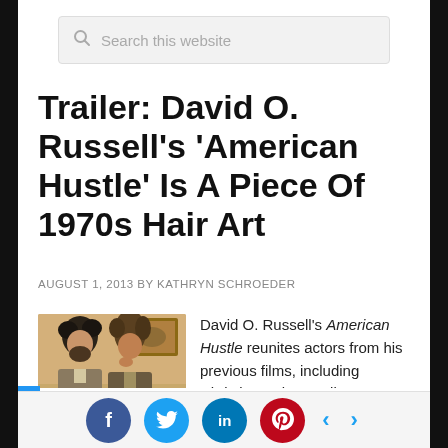[Figure (screenshot): Search bar with magnifying glass icon and placeholder text 'Search this website']
Trailer: David O. Russell's 'American Hustle' Is A Piece Of 1970s Hair Art
AUGUST 1, 2013 BY KATHRYN SCHROEDER
[Figure (photo): Two men in 1970s era clothing standing together, one with curly hair and beard]
David O. Russell's American Hustle reunites actors from his previous films, including Christian Bale, Bradley Cooper, Amy
[Figure (infographic): Social sharing bar with Facebook, Twitter, LinkedIn, Pinterest buttons and navigation arrows]